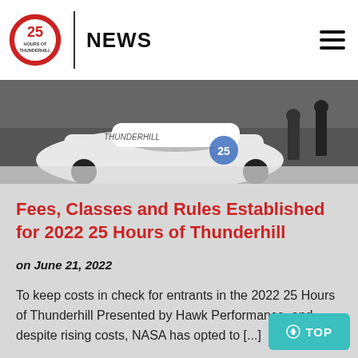NEWS
[Figure (photo): Overhead/side view of a white racing car with number 25 and sponsors, people standing near a wall in the background at a racing circuit.]
Fees, Classes and Rules Established for 2022 25 Hours of Thunderhill
on June 21, 2022
To keep costs in check for entrants in the 2022 25 Hours of Thunderhill Presented by Hawk Performance, and despite rising costs, NASA has opted to [...]